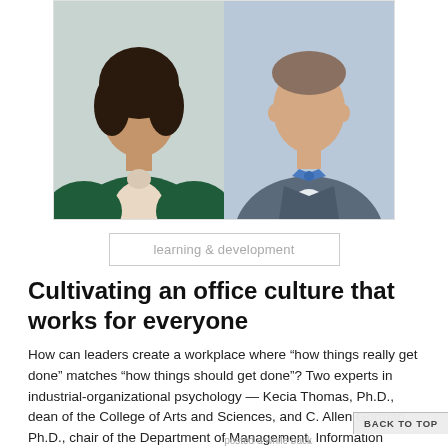[Figure (photo): Two professional headshots side by side: a woman in a dark green blazer with a cream blouse on the left, and a man in a grey suit with a blue striped bow tie on the right.]
learning & development
Cultivating an office culture that works for everyone
How can leaders create a workplace where “how things really get done” matches “how things should get done”? Two experts in industrial-organizational psychology — Kecia Thomas, Ph.D., dean of the College of Arts and Sciences, and C. Allen Gorman, Ph.D., chair of the Department of Management, Information Systems and Quantitative Methods — offer five ways to make it happen.
posted a while back